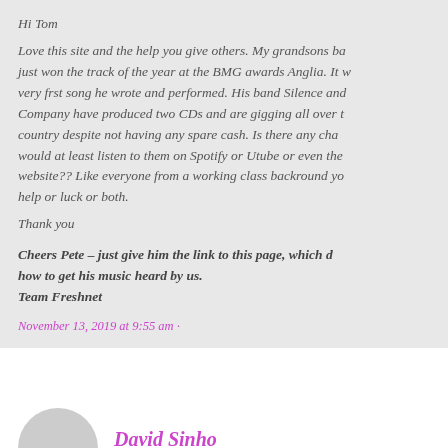Hi Tom
Love this site and the help you give others. My grandsons ba... just won the track of the year at the BMG awards Anglia. It w... very frst song he wrote and performed. His band Silence and Company have produced two CDs and are gigging all over t... country despite not having any spare cash. Is there any cha... would at least listen to them on Spotify or Utube or even the... website?? Like everyone from a working class backround yo... help or luck or both.
Thank you
Cheers Pete – just give him the link to this page, which d... how to get his music heard by us.
Team Freshnet
November 13, 2019 at 9:55 am ·
David Sinho